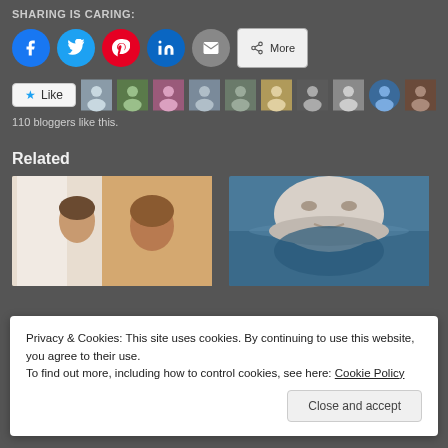SHARING IS CARING:
[Figure (infographic): Social sharing buttons: Facebook (blue circle), Twitter (teal circle), Pinterest (red circle), LinkedIn (teal circle), Email (grey circle), More (pill button)]
[Figure (infographic): Like button with star icon and 10 blogger avatar thumbnails]
110 bloggers like this.
Related
[Figure (photo): Woman smiling at her reflection in mirror]
[Figure (photo): Face-shaped iceberg emerging from water]
Privacy & Cookies: This site uses cookies. By continuing to use this website, you agree to their use.
To find out more, including how to control cookies, see here: Cookie Policy
Close and accept